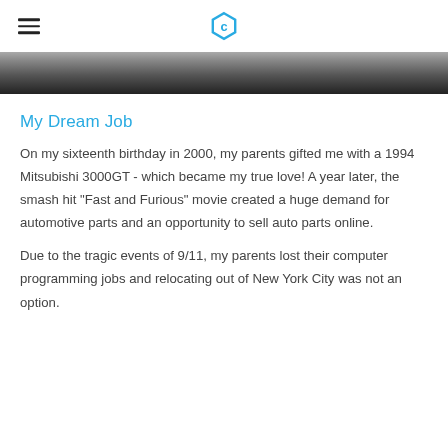[logo: C icon]
[Figure (photo): Partial view of a dark metallic surface, likely a car hood or body panel, shown as a cropped banner image at the top of the page.]
My Dream Job
On my sixteenth birthday in 2000, my parents gifted me with a 1994 Mitsubishi 3000GT - which became my true love! A year later, the smash hit "Fast and Furious" movie created a huge demand for automotive parts and an opportunity to sell auto parts online.
Due to the tragic events of 9/11, my parents lost their computer programming jobs and relocating out of New York City was not an option.